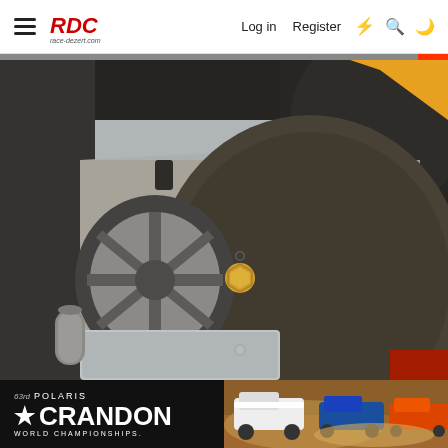RDC race-dezert.com — Log in   Register
[Figure (photo): Close-up photograph of a dusty off-road vehicle tire/wheel area showing a bolt or nut on a metallic plate, with black tire rubber and vehicle frame components visible. The image is taken from close range showing dust-covered surfaces.]
[Figure (photo): Advertisement banner for Polaris Crandon World Championships, showing racing trucks on a dirt track with black background and white text.]